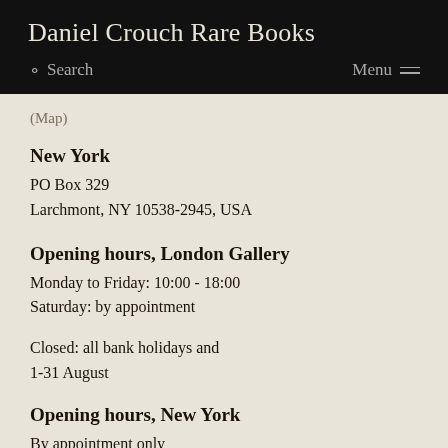Daniel Crouch Rare Books
Search   Menu
(Map)
New York
PO Box 329
Larchmont, NY 10538-2945, USA
Opening hours, London Gallery
Monday to Friday: 10:00 - 18:00
Saturday: by appointment
Closed: all bank holidays and 1-31 August
Opening hours, New York
By appointment only